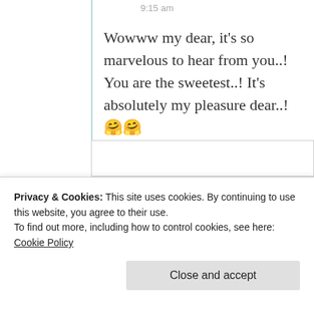9:15 am
Wowww my dear, it's so marvelous to hear from you..! You are the sweetest..! It's absolutely my pleasure dear..! 🤗🤗 💖
⭐ Like
Privacy & Cookies: This site uses cookies. By continuing to use this website, you agree to their use.
To find out more, including how to control cookies, see here: Cookie Policy
Close and accept